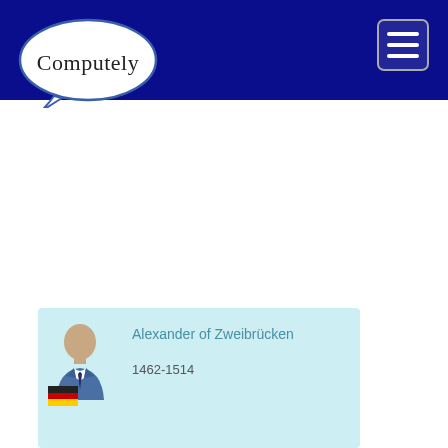[Figure (logo): Computely speech bubble logo with serif text on dark navy header bar]
[Figure (illustration): Hamburger menu icon button (three horizontal white lines) on dark navy header bar, top right]
[Figure (illustration): Card with person avatar icon, German flag, name 'Alexander of Zweibrücken', years '1462-1514', light blue background]